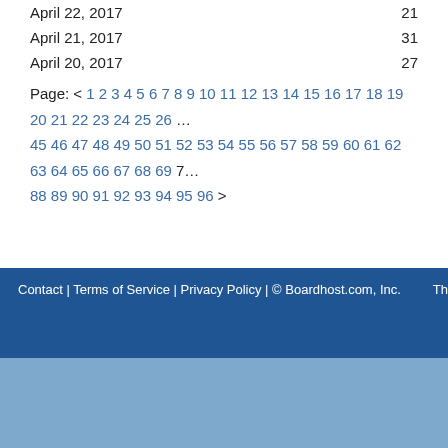April 22, 2017  21
April 21, 2017  31
April 20, 2017  27
Page: < 1 2 3 4 5 6 7 8 9 10 11 12 13 14 15 16 17 18 19 20 21 22 23 24 25 26 … 45 46 47 48 49 50 51 52 53 54 55 56 57 58 59 60 61 62 63 64 65 66 67 68 69 7… 88 89 90 91 92 93 94 95 96 >
Contact | Terms of Service | Privacy Policy | © Boardhost.com, Inc.  Th…